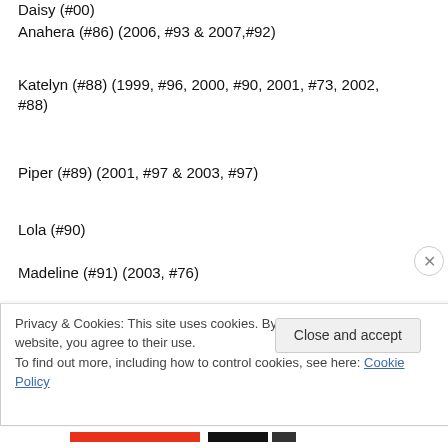Daisy (#00)
Anahera (#86) (2006, #93 & 2007,#92)
Katelyn (#88) (1999, #96, 2000, #90, 2001, #73, 2002, #88)
Piper (#89) (2001, #97 & 2003, #97)
Lola (#90)
Madeline (#91) (2003, #76)
Faith (#92) (2000, #92, 2001, #95, 2002, #80, 2003, #67,
Privacy & Cookies: This site uses cookies. By continuing to use this website, you agree to their use.
To find out more, including how to control cookies, see here: Cookie Policy